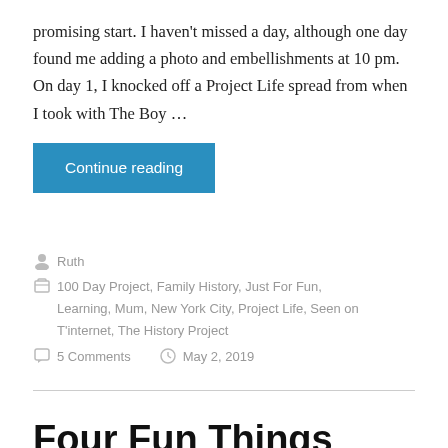promising start. I haven't missed a day, although one day found me adding a photo and embellishments at 10 pm. On day 1, I knocked off a Project Life spread from when I took with The Boy …
Continue reading
Ruth
100 Day Project, Family History, Just For Fun, Learning, Mum, New York City, Project Life, Seen on T'internet, The History Project
5 Comments   May 2, 2019
Four Fun Things